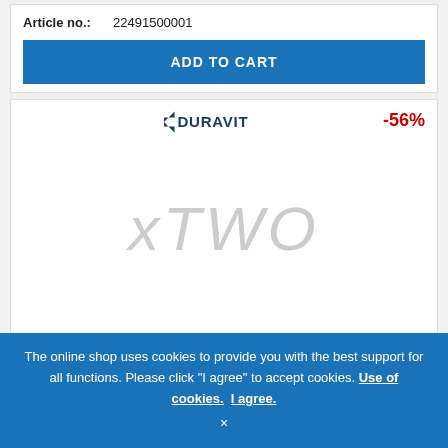Article no.:  22491500001
ADD TO CART
[Figure (logo): Duravit brand logo]
-56%
[Figure (other): xTWO watermark placeholder for product image]
The online shop uses cookies to provide you with the best support for all functions. Please click "I agree" to accept cookies. Use of cookies. I agree. ×